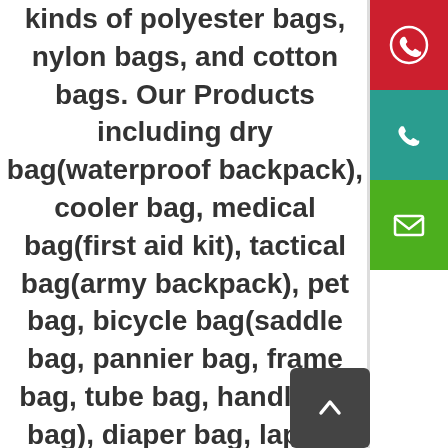We mainly produce all kinds of polyester bags, nylon bags, and cotton bags. Our Products including dry bag(waterproof backpack), cooler bag, medical bag(first aid kit), tactical bag(army backpack), pet bag, bicycle bag(saddle bag, pannier bag, frame bag, tube bag, handlebar bag), diaper bag, laptop backpack, duffel bag, shoulder bag, cosmetic bag, toiletry bag, school bag